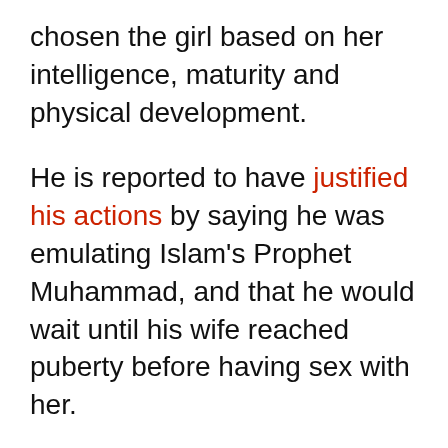chosen the girl based on her intelligence, maturity and physical development.
He is reported to have justified his actions by saying he was emulating Islam's Prophet Muhammad, and that he would wait until his wife reached puberty before having sex with her.
He's already being condemned by Indonesian politicians and leading Islamic figures in the region.
Who might possibly be on his side?